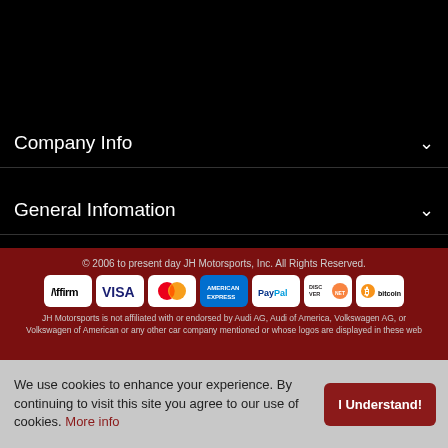Company Info
General Infomation
© 2006 to present day JH Motorsports, Inc. All Rights Reserved.
[Figure (logo): Payment method icons: Affirm, Visa, MasterCard, American Express, PayPal, Discover Network, Bitcoin]
JH Motorsports is not affiliated with or endorsed by Audi AG, Audi of America, Volkswagen AG, or Volkswagen of American or any other car company mentioned or whose logos are displayed in these web
We use cookies to enhance your experience. By continuing to visit this site you agree to our use of cookies. More info
I Understand!